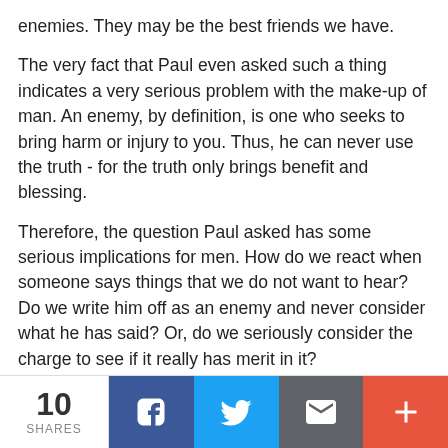enemies. They may be the best friends we have.
The very fact that Paul even asked such a thing indicates a very serious problem with the make-up of man. An enemy, by definition, is one who seeks to bring harm or injury to you. Thus, he can never use the truth - for the truth only brings benefit and blessing.
Therefore, the question Paul asked has some serious implications for men. How do we react when someone says things that we do not want to hear? Do we write him off as an enemy and never consider what he has said? Or, do we seriously consider the charge to see if it really has merit in it?
Long before Paul ever experienced the intolerance of the people for the truths of God, the prophet Isaiah offered a very similar assessment of the people of his own day:
10 SHARES | Facebook | Twitter | Email | More